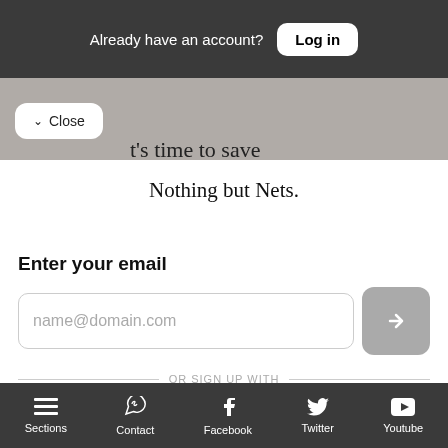Already have an account?  Log in
✓ Close
t's time to save
Nothing but Nets.
Enter your email
name@domain.com
OR SIGN UP WITH
Facebook
Google
Sections  Contact  Facebook  Twitter  Youtube